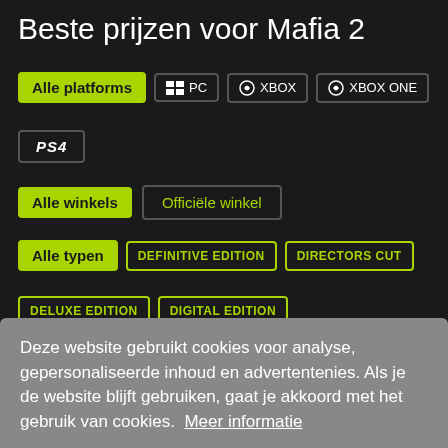Beste prijzen voor Mafia 2
Alle platforms | PC | XBOX | XBOX ONE | PS4
Alle winkels | Officiële winkel
Alle typen | DEFINITIVE EDITION | DIRECTORS CUT | DELUXE EDITION | DIGITAL EDITION
Deze website gebruikt cookies voor analyse, gepersonaliseerde inhoud en advertenties. Als je de website blijft gebruiken, gaat je akkoord met het gebruik van cookies. Meer informatie
Weigeren   Toestaan
7.99€
OOP
GAMIVO   8.27€